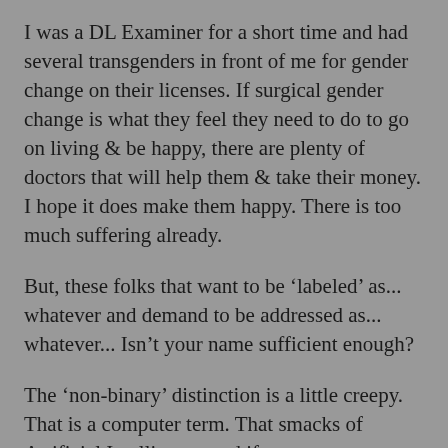I was a DL Examiner for a short time and had several transgenders in front of me for gender change on their licenses. If surgical gender change is what they feel they need to do to go on living & be happy, there are plenty of doctors that will help them & take their money. I hope it does make them happy. There is too much suffering already.
But, these folks that want to be ‘labeled’ as... whatever and demand to be addressed as... whatever... Isn’t your name sufficient enough?
The ‘non-binary’ distinction is a little creepy. That is a computer term. That smacks of Artificial Intelligence and if anyone wants to merge themselves with a computer/chat/android I for the...